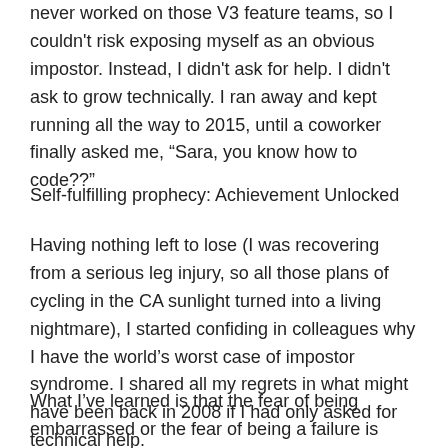never worked on those V3 feature teams, so I couldn't risk exposing myself as an obvious impostor. Instead, I didn't ask for help. I didn't ask to grow technically. I ran away and kept running all the way to 2015, until a coworker finally asked me, “Sara, you know how to code??”
Self-fulfilling prophecy: Achievement Unlocked
Having nothing left to lose (I was recovering from a serious leg injury, so all those plans of cycling in the CA sunlight turned into a living nightmare), I started confiding in colleagues why I have the world’s worst case of impostor syndrome. I shared all my regrets in what might have been back in 2008 if I had only asked for technical help.
What I’ve learned is that the fear of being embarrassed or the fear of being a failure is PALE in comparison to the fear of feeling ignored.